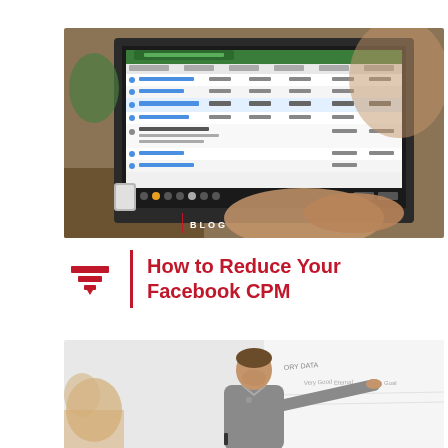[Figure (photo): Photo of a person using a MacBook laptop showing what appears to be a Facebook Ads Manager interface with campaign data tables]
BLOG
How to Reduce Your Facebook CPM
[Figure (photo): Photo of a man in a grey polo shirt pointing at a whiteboard while presenting to someone]